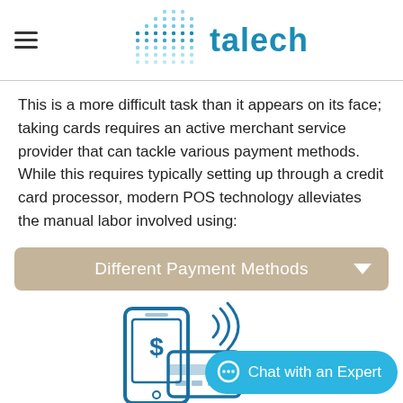talech
This is a more difficult task than it appears on its face; taking cards requires an active merchant service provider that can tackle various payment methods. While this requires typically setting up through a credit card processor, modern POS technology alleviates the manual labor involved using:
Different Payment Methods
[Figure (illustration): Icon showing a mobile phone with a dollar sign and a credit card with contactless payment signal waves, representing payment methods]
Chat with an Expert